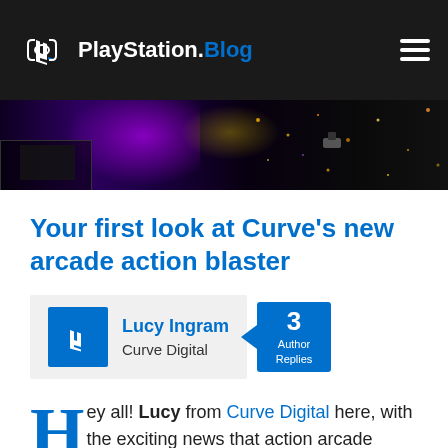PlayStation.Blog
[Figure (screenshot): Hero banner image with dark purple/black space-themed game screenshot with glowing lights and particles]
Your first look at Curve’s new arcade action blaster
Lucy Ingram
Curve Digital
3 Author Replies
Hey all! Lucy from Curve Digital here, with the exciting news that action arcade blaster Ultratron will be coming to PlayStation 3, PlayStation Vita, and PlayStation 4 consoles early next year, and will be